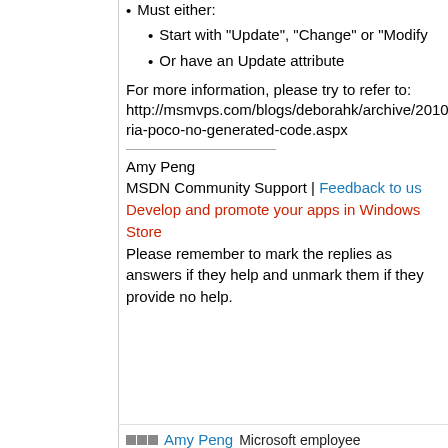Must either:
Start with "Update", "Change" or "Modify
Or have an Update attribute
For more information, please try to refer to: http://msmvps.com/blogs/deborahk/archive/2010/07/20/sl-ria-poco-no-generated-code.aspx
Amy Peng
MSDN Community Support | Feedback to us
Develop and promote your apps in Windows Store
Please remember to mark the replies as answers if they help and unmark them if they provide no help.
Amy Peng  Microsoft employee